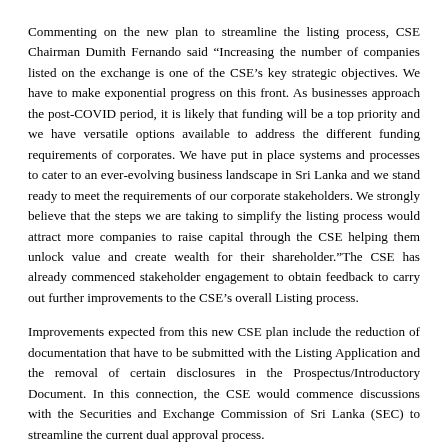Commenting on the new plan to streamline the listing process, CSE Chairman Dumith Fernando said “Increasing the number of companies listed on the exchange is one of the CSE’s key strategic objectives. We have to make exponential progress on this front. As businesses approach the post-COVID period, it is likely that funding will be a top priority and we have versatile options available to address the different funding requirements of corporates. We have put in place systems and processes to cater to an ever-evolving business landscape in Sri Lanka and we stand ready to meet the requirements of our corporate stakeholders. We strongly believe that the steps we are taking to simplify the listing process would attract more companies to raise capital through the CSE helping them unlock value and create wealth for their shareholder.”The CSE has already commenced stakeholder engagement to obtain feedback to carry out further improvements to the CSE’s overall Listing process.
Improvements expected from this new CSE plan include the reduction of documentation that have to be submitted with the Listing Application and the removal of certain disclosures in the Prospectus/Introductory Document. In this connection, the CSE would commence discussions with the Securities and Exchange Commission of Sri Lanka (SEC) to streamline the current dual approval process.